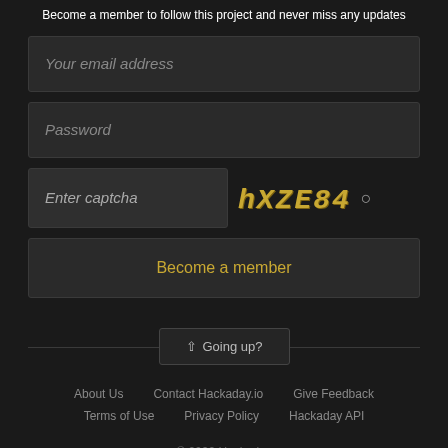Become a member to follow this project and never miss any updates
Your email address
Password
Enter captcha
[Figure (other): CAPTCHA image showing distorted text: hXZE84]
Become a member
↑ Going up?
About Us   Contact Hackaday.io   Give Feedback
Terms of Use   Privacy Policy   Hackaday API
© 2022 Hackaday